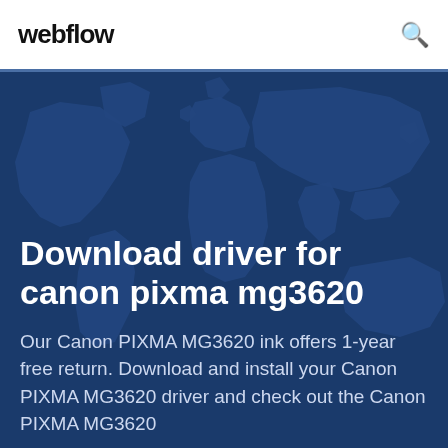webflow
[Figure (illustration): Dark blue hero banner with a world map silhouette in the background]
Download driver for canon pixma mg3620
Our Canon PIXMA MG3620 ink offers 1-year free return. Download and install your Canon PIXMA MG3620 driver and check out the Canon PIXMA MG3620